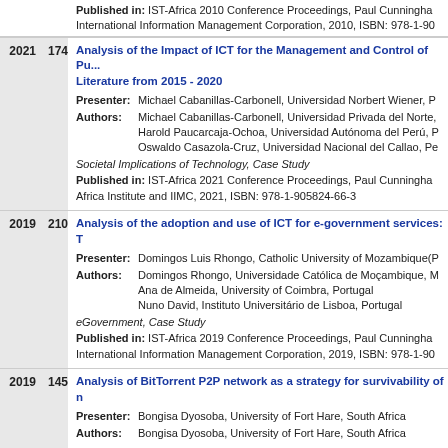Published in: IST-Africa 2010 Conference Proceedings, Paul Cunningha... International Information Management Corporation, 2010, ISBN: 978-1-90...
2021 174 Analysis of the Impact of ICT for the Management and Control of Pu... Literature from 2015 - 2020
Presenter: Michael Cabanillas-Carbonell, Universidad Norbert Wiener, P...
Authors: Michael Cabanillas-Carbonell, Universidad Privada del Norte,... Harold Paucarcaja-Ochoa, Universidad Autónoma del Perú, P... Oswaldo Casazola-Cruz, Universidad Nacional del Callao, Pe...
Societal Implications of Technology, Case Study
Published in: IST-Africa 2021 Conference Proceedings, Paul Cunningha...
Africa Institute and IIMC, 2021, ISBN: 978-1-905824-66-3
2019 210 Analysis of the adoption and use of ICT for e-government services: T...
Presenter: Domingos Luis Rhongo, Catholic University of Mozambique(P...
Authors: Domingos Rhongo, Universidade Católica de Moçambique, M... Ana de Almeida, University of Coimbra, Portugal Nuno David, Instituto Universitário de Lisboa, Portugal
eGovernment, Case Study
Published in: IST-Africa 2019 Conference Proceedings, Paul Cunningha...
International Information Management Corporation, 2019, ISBN: 978-1-90...
2019 145 Analysis of BitTorrent P2P network as a strategy for survivability of n...
Presenter: Bongisa Dyosoba, University of Fort Hare, South Africa
Authors: Bongisa Dyosoba, University of Fort Hare, South Africa